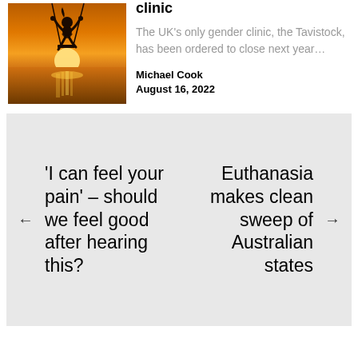[Figure (photo): Silhouette of a person on a swing against an orange sunset sky over water]
clinic
The UK's only gender clinic, the Tavistock, has been ordered to close next year…
Michael Cook
August 16, 2022
← 'I can feel your pain' – should we feel good after hearing this?
Euthanasia makes clean sweep of Australian states →